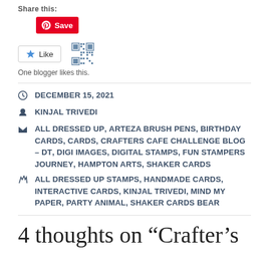Share this:
[Figure (other): Pinterest Save button]
[Figure (other): Like button with star icon and QR code graphic]
One blogger likes this.
DECEMBER 15, 2021
KINJAL TRIVEDI
ALL DRESSED UP, ARTEZA BRUSH PENS, BIRTHDAY CARDS, CARDS, CRAFTERS CAFE CHALLENGE BLOG – DT, DIGI IMAGES, DIGITAL STAMPS, FUN STAMPERS JOURNEY, HAMPTON ARTS, SHAKER CARDS
ALL DRESSED UP STAMPS, HANDMADE CARDS, INTERACTIVE CARDS, KINJAL TRIVEDI, MIND MY PAPER, PARTY ANIMAL, SHAKER CARDS BEAR
4 thoughts on “Crafter’s